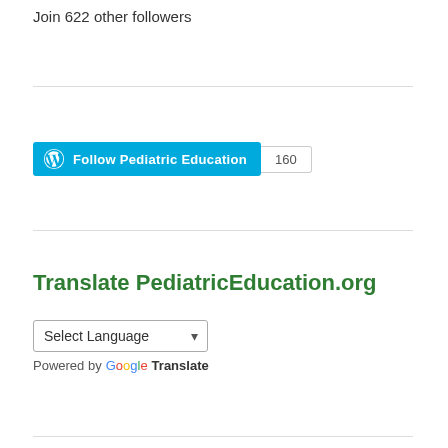Join 622 other followers
[Figure (other): WordPress Follow Pediatric Education button with count badge showing 160]
Translate PediatricEducation.org
Select Language
Powered by Google Translate